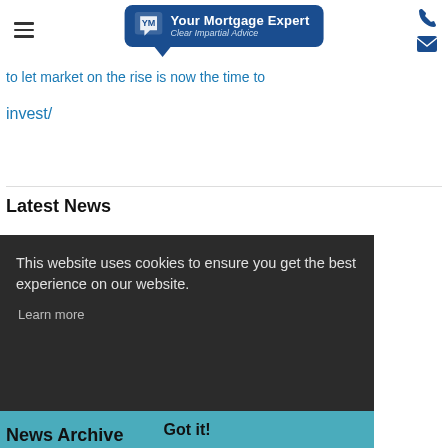Your Mortgage Expert – Clear Impartial Advice
to let market on the rise is now the time to invest/
Latest News
This website uses cookies to ensure you get the best experience on our website. Learn more
Got it!
News Archive